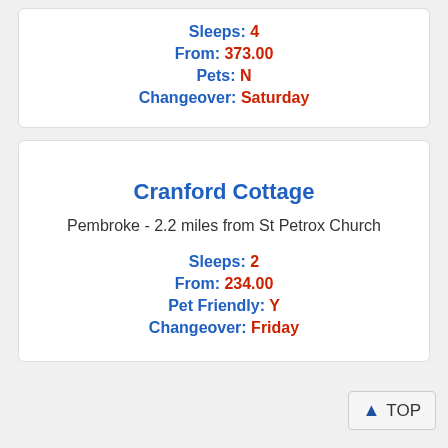Sleeps: 4
From: 373.00
Pets: N
Changeover: Saturday
Cranford Cottage
Pembroke - 2.2 miles from St Petrox Church
Sleeps: 2
From: 234.00
Pet Friendly: Y
Changeover: Friday